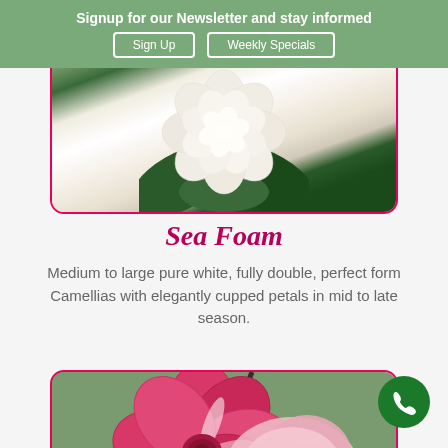Signup for our Newsletter and stay informed
Sign Up
Weekly Specials
[Figure (photo): White fully double camellia flower with layered petals against dark green leaves, inside a pink-bordered rounded card]
Sea Foam
Medium to large pure white, fully double, perfect form Camellias with elegantly cupped petals in mid to late season.
[Figure (photo): Deep pink and white variegated camellia flower with rich magenta petals and white streaks, inside a pink-bordered rounded card]
Phone button